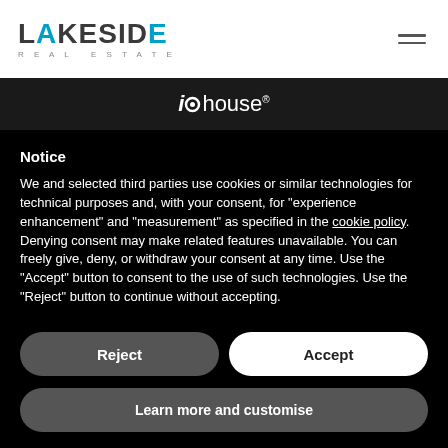[Figure (logo): Lakeside Real Estate logo in dark text with teal/blue accent letters]
[Figure (logo): iOhouse registered trademark logo in white on dark background]
Notice
We and selected third parties use cookies or similar technologies for technical purposes and, with your consent, for “experience enhancement” and “measurement” as specified in the cookie policy. Denying consent may make related features unavailable. You can freely give, deny, or withdraw your consent at any time. Use the “Accept” button to consent to the use of such technologies. Use the “Reject” button to continue without accepting.